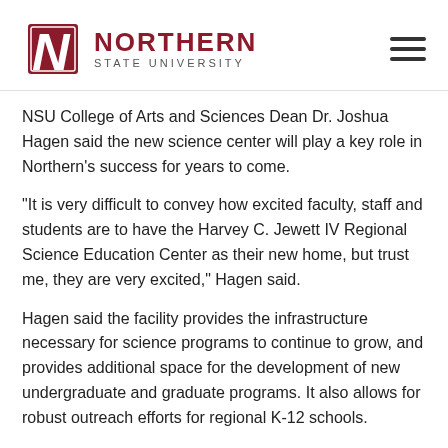Northern State University
NSU College of Arts and Sciences Dean Dr. Joshua Hagen said the new science center will play a key role in Northern’s success for years to come.
“It is very difficult to convey how excited faculty, staff and students are to have the Harvey C. Jewett IV Regional Science Education Center as their new home, but trust me, they are very excited,” Hagen said.
Hagen said the facility provides the infrastructure necessary for science programs to continue to grow, and provides additional space for the development of new undergraduate and graduate programs. It also allows for robust outreach efforts for regional K-12 schools.
Thursday’s ribbon-cutting ceremony was also attended